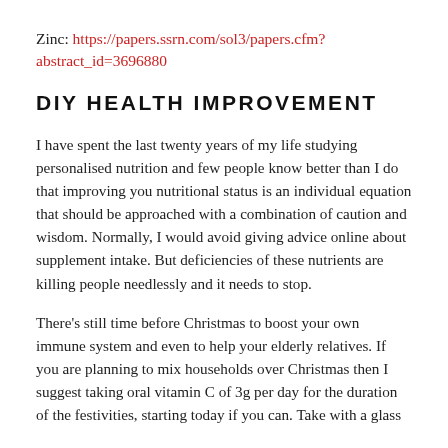Zinc: https://papers.ssrn.com/sol3/papers.cfm?abstract_id=3696880
DIY HEALTH IMPROVEMENT
I have spent the last twenty years of my life studying personalised nutrition and few people know better than I do that improving you nutritional status is an individual equation that should be approached with a combination of caution and wisdom. Normally, I would avoid giving advice online about supplement intake. But deficiencies of these nutrients are killing people needlessly and it needs to stop.
There’s still time before Christmas to boost your own immune system and even to help your elderly relatives. If you are planning to mix households over Christmas then I suggest taking oral vitamin C of 3g per day for the duration of the festivities, starting today if you can. Take with a glass